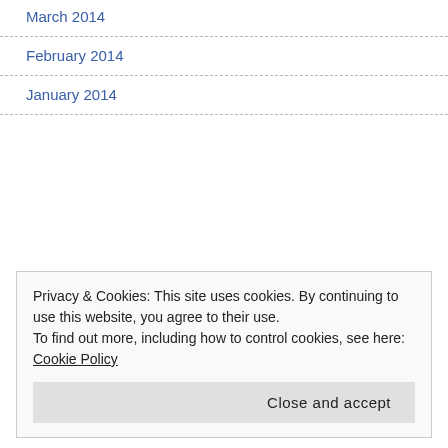March 2014
February 2014
January 2014
Privacy & Cookies: This site uses cookies. By continuing to use this website, you agree to their use.
To find out more, including how to control cookies, see here: Cookie Policy
Close and accept